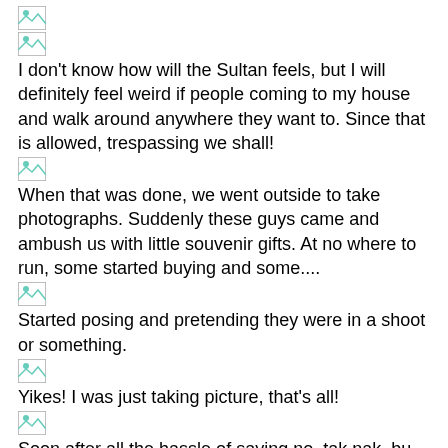[Figure (photo): Broken image placeholder 1]
[Figure (photo): Broken image placeholder 2]
I don't know how will the Sultan feels, but I will definitely feel weird if people coming to my house and walk around anywhere they want to. Since that is allowed, trespassing we shall!
[Figure (photo): Broken image placeholder 3]
When that was done, we went outside to take photographs. Suddenly these guys came and ambush us with little souvenir gifts. At no where to run, some started buying and some....
[Figure (photo): Broken image placeholder 4]
Started posing and pretending they were in a shoot or something.
[Figure (photo): Broken image placeholder 5]
Yikes! I was just taking picture, that's all!
[Figure (photo): Broken image placeholder 6]
Soon after all the hassle of saying no, tak nak, bu yao, DOWAN LAH!, we were ready for lunch!